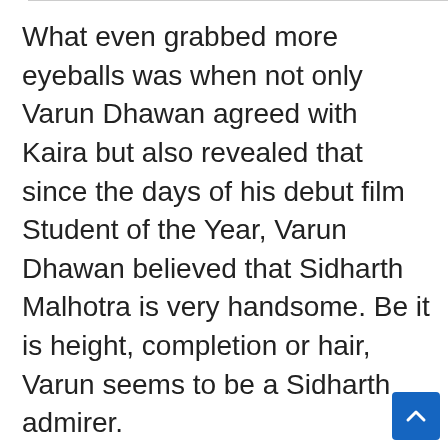What even grabbed more eyeballs was when not only Varun Dhawan agreed with Kaira but also revealed that since the days of his debut film Student of the Year, Varun Dhawan believed that Sidharth Malhotra is very handsome. Be it is height, completion or hair, Varun seems to be a Sidharth admirer.
Jug Jugg Jiyo will release on June 24, this year in theatres. The film has successful created a lot of buzz among the audience and seems like the movie will have a good